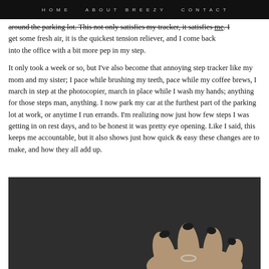HOME   ABOUT BREEZY   CONTACT
around the parking lot. This not only satisfies my tracker, it satisfies me. I get some fresh air, it is the quickest tension reliever, and I come back into the office with a bit more pep in my step.
It only took a week or so, but I've also become that annoying step tracker like my mom and my sister; I pace while brushing my teeth, pace while my coffee brews, I march in step at the photocopier, march in place while I wash my hands; anything for those steps man, anything. I now park my car at the furthest part of the parking lot at work, or anytime I run errands. I'm realizing now just how few steps I was getting in on rest days, and to be honest it was pretty eye opening. Like I said, this keeps me accountable, but it also shows just how quick & easy these changes are to make, and how they all add up.
[Figure (photo): A hand with dark painted nails resting on a dark grey/charcoal background, with a ring visible on one finger.]